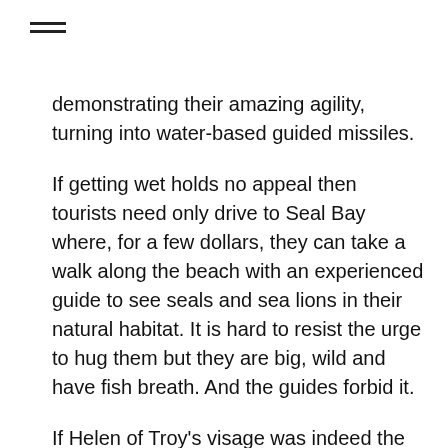≡ (menu icon)
demonstrating their amazing agility, turning into water-based guided missiles.
If getting wet holds no appeal then tourists need only drive to Seal Bay where, for a few dollars, they can take a walk along the beach with an experienced guide to see seals and sea lions in their natural habitat. It is hard to resist the urge to hug them but they are big, wild and have fish breath. And the guides forbid it.
If Helen of Troy's visage was indeed the face that launched a thousand ships then Kangaroo Island is the place that managed to sink almost as many, dragging them down to Davey Jones' Locker in the waters off Emu Bay and Cape Cassini, in the Bay of Shoals, at Cape de Couedic, Cape Borda, Seal Bay and